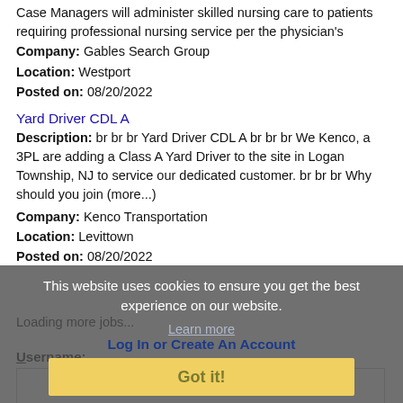Case Managers will administer skilled nursing care to patients requiring professional nursing service per the physician's
Company: Gables Search Group
Location: Westport
Posted on: 08/20/2022
Yard Driver CDL A
Description: br br br Yard Driver CDL A br br br We Kenco, a 3PL are adding a Class A Yard Driver to the site in Logan Township, NJ to service our dedicated customer. br br br Why should you join (more...)
Company: Kenco Transportation
Location: Levittown
Posted on: 08/20/2022
Loading more jobs...
This website uses cookies to ensure you get the best experience on our website.
Learn more
Log In or Create An Account
Got it!
Username: